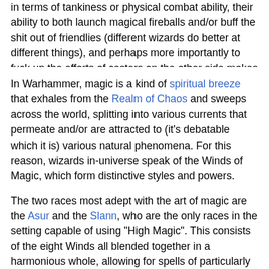in terms of tankiness or physical combat ability, their ability to both launch magical fireballs and/or buff the shit out of friendlies (different wizards do better at different things), and perhaps more importantly to fuck up the efforts of casters on the other side makes them incredibly valuable members of the force.
In Warhammer, magic is a kind of spiritual breeze that exhales from the Realm of Chaos and sweeps across the world, splitting into various currents that permeate and/or are attracted to (it's debatable which it is) various natural phenomena. For this reason, wizards in-universe speak of the Winds of Magic, which form distinctive styles and powers.
The two races most adept with the art of magic are the Asur and the Slann, who are the only races in the setting capable of using "High Magic". This consists of the eight Winds all blended together in a harmonious whole, allowing for spells of particularly devastating effect and color and making them masters of dispelling other wizards' efforts at casting.
In The Empire originally...